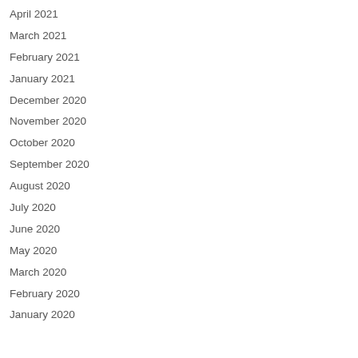April 2021
March 2021
February 2021
January 2021
December 2020
November 2020
October 2020
September 2020
August 2020
July 2020
June 2020
May 2020
March 2020
February 2020
January 2020